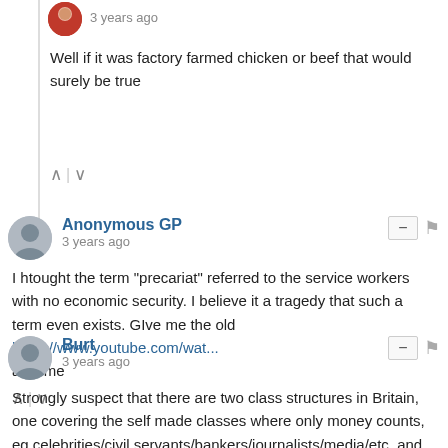3 years ago
Well if it was factory farmed chicken or beef that would surely be true
Anonymous GP
3 years ago
I htought the term "precariat" referred to the service workers with no economic security. I believe it a tragedy that such a term even exists. GIve me the old https://www.youtube.com/wat... anytime
Burt
3 years ago
Strongly suspect that there are two class structures in Britain, one covering the self made classes where only money counts, eg celebrities/civil servants/bankers/journalists/media/etc, and the other covering everybody else.